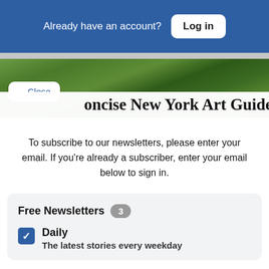Already have an account? Log in
[Figure (photo): Green trees/foliage outdoor photo, partially obscured by Close button overlay]
oncise New York Art Guide for
To subscribe to our newsletters, please enter your email. If you're already a subscriber, enter your email below to sign in.
Free Newsletters 3
Daily
The latest stories every weekday